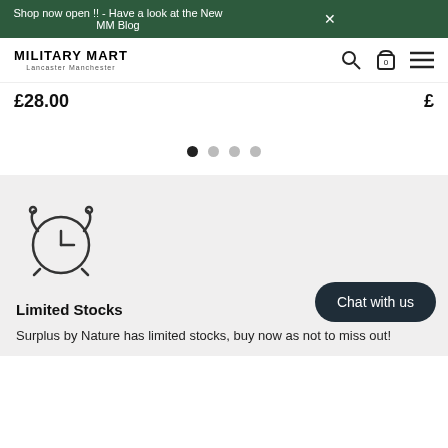Shop now open !! - Have a look at the New MM Blog
[Figure (logo): Military Mart logo with arched text and subtitle]
£28.00
[Figure (other): Carousel pagination dots, first dot active]
[Figure (illustration): Alarm clock icon outline]
Limited Stocks
Surplus by Nature has limited stocks, buy now as not to miss out!
Chat with us